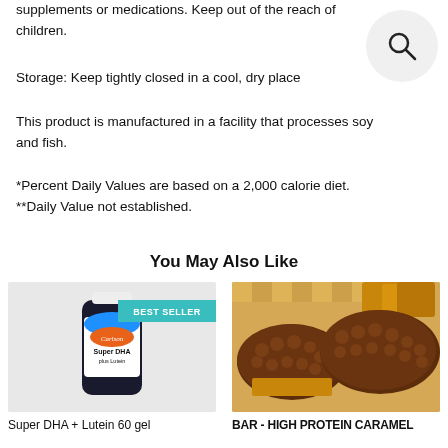supplements or medications. Keep out of the reach of children.
Storage: Keep tightly closed in a cool, dry place
This product is manufactured in a facility that processes soy and fish.
*Percent Daily Values are based on a 2,000 calorie diet.
**Daily Value not established.
You May Also Like
[Figure (photo): Supplement bottle - Super DHA plus Lutein, with BEST SELLER badge]
[Figure (photo): Chocolate caramel protein bars]
Super DHA + Lutein 60 gel
BAR - HIGH PROTEIN CARAMEL